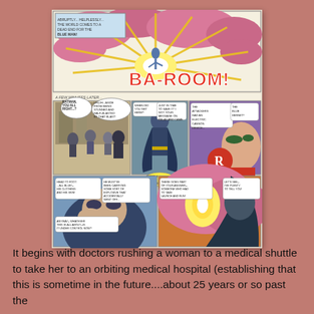[Figure (illustration): A Batman comic book page showing multiple panels. Top panel: explosion with 'BA-ROOM!' sound effect and a figure being blown away, with caption 'ABRUPTLY... HELPLESSLY... THE WORLD COMES TO A DEAD END FOR THE BLUE MAN!'. Middle row: three panels showing Batman and Robin in various scenes with speech bubbles including dialogue about being stunned by a blast, receiving a message, and an electric cannon device. Bottom row: two panels showing a close-up of Robin looking troubled with speech bubbles about an explosion, and Batman holding a glowing orb.]
It begins with doctors rushing a woman to a medical shuttle to take her to an orbiting medical hospital (establishing that this is sometime in the future....about 25 years or so past the